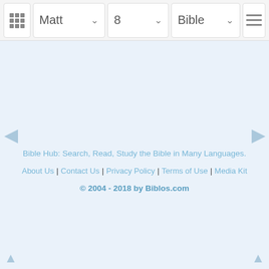Matt | 8 | Bible
Bible Hub: Search, Read, Study the Bible in Many Languages.
About Us | Contact Us | Privacy Policy | Terms of Use | Media Kit
© 2004 - 2018 by Biblos.com